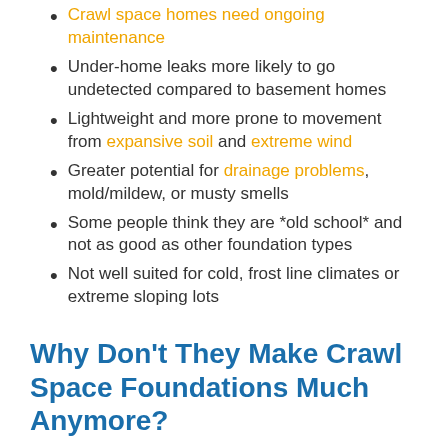Crawl space homes need ongoing maintenance
Under-home leaks more likely to go undetected compared to basement homes
Lightweight and more prone to movement from expansive soil and extreme wind
Greater potential for drainage problems, mold/mildew, or musty smells
Some people think they are *old school* and not as good as other foundation types
Not well suited for cold, frost line climates or extreme sloping lots
Why Don’t They Make Crawl Space Foundations Much Anymore?
Crawl space foundations are not made as frequently anymore, but it’s not because they are not